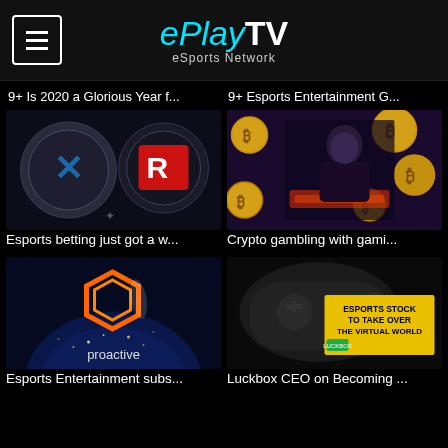ePlayTV eSports Network
9+ Is 2020 a Glorious Year f...
9+ Esports Entertainment G...
[Figure (photo): Dark esports themed image with blue X logo and team logo on coins/medallions background]
Esports betting just got a w...
[Figure (photo): Woman gaming at PC with golden bitcoin coins floating around, blue lighting]
Crypto gambling with gami...
[Figure (photo): Proactive logo (orange hexagon) over glowing earth from space]
Esports Entertainment subs...
[Figure (photo): PlayStation controller with yellow banner text: ESPORTS STOCK TO TAKE OVER THE VIRTUAL WORLD]
Luckbox CEO on Becoming ...